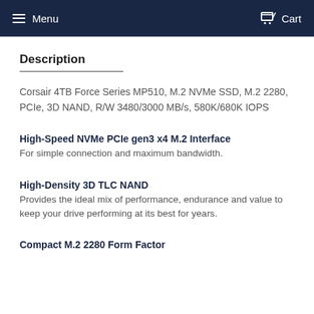Menu  Cart
Description
Corsair 4TB Force Series MP510, M.2 NVMe SSD, M.2 2280, PCIe, 3D NAND, R/W 3480/3000 MB/s, 580K/680K IOPS
High-Speed NVMe PCIe gen3 x4 M.2 Interface
For simple connection and maximum bandwidth.
High-Density 3D TLC NAND
Provides the ideal mix of performance, endurance and value to keep your drive performing at its best for years.
Compact M.2 2280 Form Factor